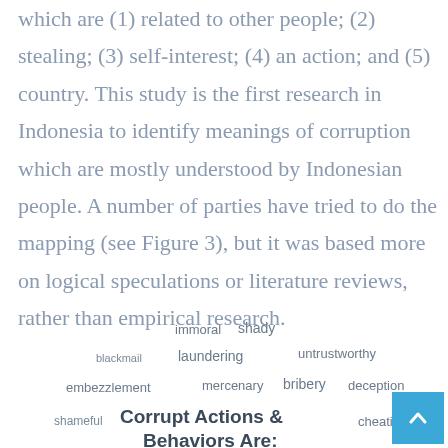which are (1) related to other people; (2) stealing; (3) self-interest; (4) an action; and (5) country. This study is the first research in Indonesia to identify meanings of corruption which are mostly understood by Indonesian people. A number of parties have tried to do the mapping (see Figure 3), but it was based more on logical speculations or literature reviews, rather than empirical research.
[Figure (infographic): Word cloud showing terms related to corrupt actions and behaviors, including: immoral, shady, blackmail, laundering, untrustworthy, embezzlement, mercenary, bribery, deception, shameful, cheating. Central bold text reads 'Corrupt Actions & Behaviors Are:']